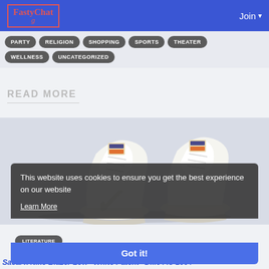FastyChat | Join
PARTY
RELIGION
SHOPPING
SPORTS
THEATER
WELLNESS
UNCATEGORIZED
READ MORE
[Figure (photo): Two white Nike sneakers (Sacai x Nike Blazer Low White Patent DM6443-100) viewed from behind, showing heels on a light gray background]
This website uses cookies to ensure you get the best experience on our website
Learn More
LITERATURE
Got it!
Sacai x Nike Blazer Low "White Patent" DM6443-100 /